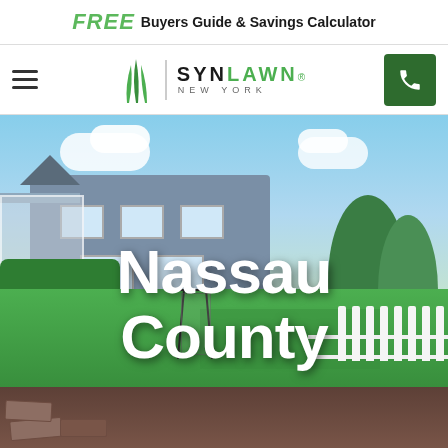FREE Buyers Guide & Savings Calculator
[Figure (logo): SynLawn New York logo with grass blade icon and navigation bar including hamburger menu and phone button]
[Figure (photo): Outdoor photo of a residential property with a large gray house, lush trees, artificial turf lawn, a soccer rebounder, and white picket fence under a partly cloudy sky]
Nassau County